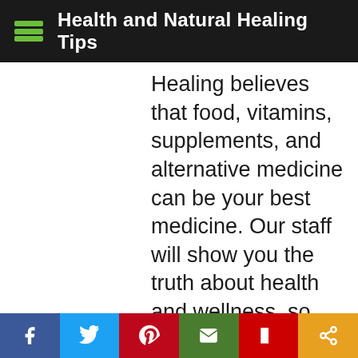Health and Natural Healing Tips
Healing believes that food, vitamins, supplements, and alternative medicine can be your best medicine. Our staff will show you the truth about health and wellness, so you can help your family and closest friends get even healthier. You'll learn exactly what you should do and how to eat to get healthy, exercise to get your leanest, healthiest body, and how to take control of your family's health, using natural
f  Twitter  P  email  Flipboard  share